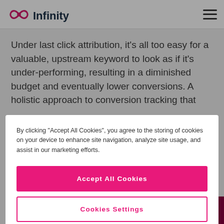Infinity
Under last click attribution, it’s all too easy for a valuable, upstream keyword to look as if it’s under-performing, resulting in a diminished budget and eventually lower conversions. A holistic approach to conversion tracking that
By clicking “Accept All Cookies”, you agree to the storing of cookies on your device to enhance site navigation, analyze site usage, and assist in our marketing efforts.
Accept All Cookies
Cookies Settings